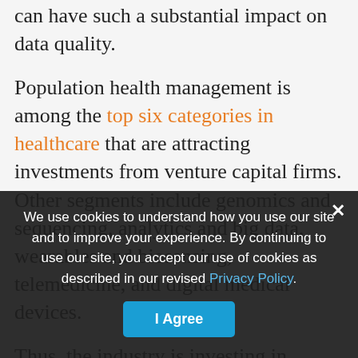can have such a substantial impact on data quality.
Population health management is among the top six categories in healthcare that are attracting investments from venture capital firms. Other segments include genomics and sequencing, analytics and big data, wearables and biosensing, telemedicine, and digital medical devices.
Thus, the industry is investing in technologies that will play a significant role in what is known as population health management and big data analytics. Moreover, any medical records system needs to focus on the right patient identification at every time so that medical records and the corresponding patient data are not mixed-up. Considering the data fragmentation
We use cookies to understand how you use our site and to improve your experience. By continuing to use our site, you accept our use of cookies as described in our revised Privacy Policy.